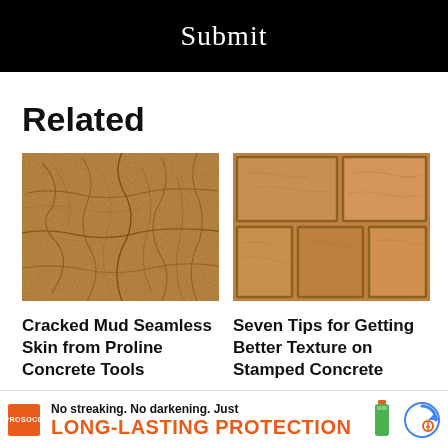Submit
Related
[Figure (photo): Cracked mud stamped concrete texture — irregular stone-like pattern in tan/brown tones]
[Figure (photo): Stamped concrete with rectangular stone block pattern in orange/brown tones]
Cracked Mud Seamless Skin from Proline Concrete Tools
Seven Tips for Getting Better Texture on Stamped Concrete
[Figure (infographic): PROSOCO advertisement banner: No streaking. No darkening. Just LONG-LASTING PROTECTION]